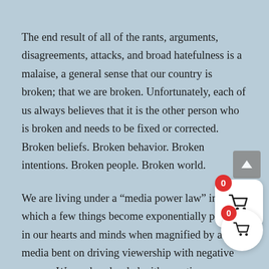The end result of all of the rants, arguments, disagreements, attacks, and broad hatefulness is a malaise, a general sense that our country is broken; that we are broken. Unfortunately, each of us always believes that it is the other person who is broken and needs to be fixed or corrected. Broken beliefs. Broken behavior. Broken intentions. Broken people. Broken world.
We are living under a “media power law” in which a few things become exponentially present in our hearts and minds when magnified by a media bent on driving viewership with negative energy. We are bombarded with negative messages and imagery on TV, on social media, in magazines, and in newspapers leaving us to draw the only possible conclusion: the sky is falling. of this negativity, the temptation is to fall into the absolu bucketing people in broad, easily identified groups: Republican, Democrat, White, Black, Catholic, Muslim, Liberal, Conse Rich, Poor, Good, Bad and then concluding that because